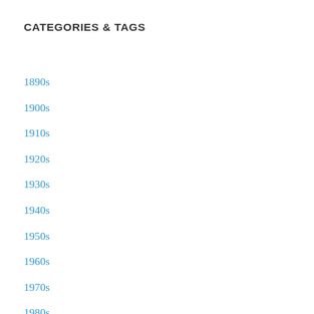CATEGORIES & TAGS
1890s
1900s
1910s
1920s
1930s
1940s
1950s
1960s
1970s
1980s
2000 on